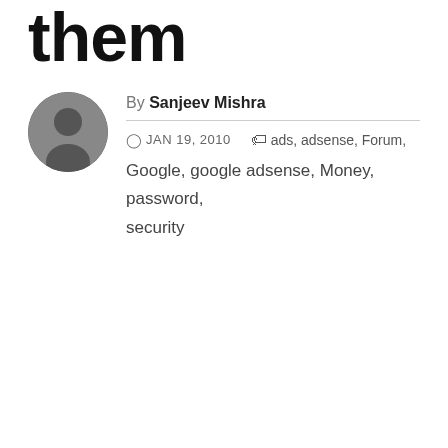them
By Sanjeev Mishra
JAN 19, 2010  ads, adsense, Forum, Google, google adsense, Money, password, security